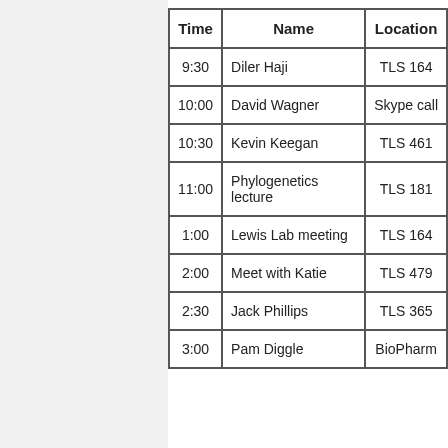| Time | Name | Location |
| --- | --- | --- |
| 9:30 | Diler Haji | TLS 164 |
| 10:00 | David Wagner | Skype call |
| 10:30 | Kevin Keegan | TLS 461 |
| 11:00 | Phylogenetics lecture | TLS 181 |
| 1:00 | Lewis Lab meeting | TLS 164 |
| 2:00 | Meet with Katie | TLS 479 |
| 2:30 | Jack Phillips | TLS 365 |
| 3:00 | Pam Diggle | BioPharm |